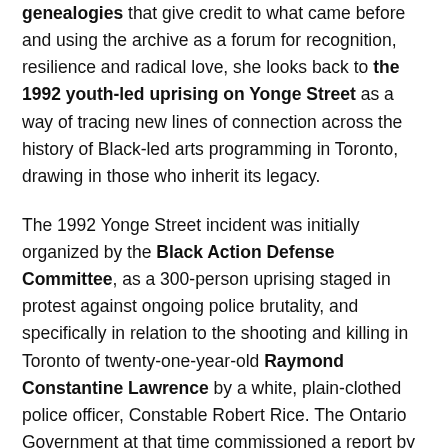genealogies that give credit to what came before and using the archive as a forum for recognition, resilience and radical love, she looks back to the 1992 youth-led uprising on Yonge Street as a way of tracing new lines of connection across the history of Black-led arts programming in Toronto, drawing in those who inherit its legacy.
The 1992 Yonge Street incident was initially organized by the Black Action Defense Committee, as a 300-person uprising staged in protest against ongoing police brutality, and specifically in relation to the shooting and killing in Toronto of twenty-one-year-old Raymond Constantine Lawrence by a white, plain-clothed police officer, Constable Robert Rice. The Ontario Government at that time commissioned a report by the then special advisor of Race Relations